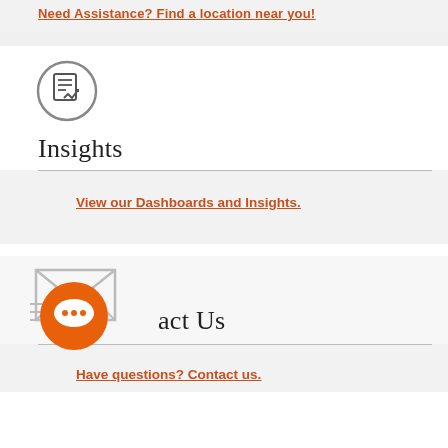Need Assistance? Find a location near you!
[Figure (illustration): Clipboard/document checklist icon in a circle]
Insights
View our Dashboards and Insights.
[Figure (illustration): Envelope mail icon with orange chat bubble icon overlay]
Contact Us
Have questions? Contact us.